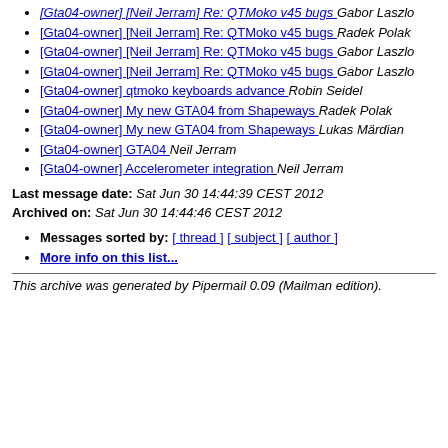[Gta04-owner] [Neil Jerram] Re: QTMoko v45 bugs  Gabor Laszlo
[Gta04-owner] [Neil Jerram] Re: QTMoko v45 bugs  Radek Polak
[Gta04-owner] [Neil Jerram] Re: QTMoko v45 bugs  Gabor Laszlo
[Gta04-owner] [Neil Jerram] Re: QTMoko v45 bugs  Gabor Laszlo
[Gta04-owner] qtmoko keyboards advance  Robin Seidel
[Gta04-owner] My new GTA04 from Shapeways  Radek Polak
[Gta04-owner] My new GTA04 from Shapeways  Lukas Märdian
[Gta04-owner] GTA04  Neil Jerram
[Gta04-owner] Accelerometer integration  Neil Jerram
Last message date: Sat Jun 30 14:44:39 CEST 2012
Archived on: Sat Jun 30 14:44:46 CEST 2012
Messages sorted by: [ thread ] [ subject ] [ author ]
More info on this list...
This archive was generated by Pipermail 0.09 (Mailman edition).